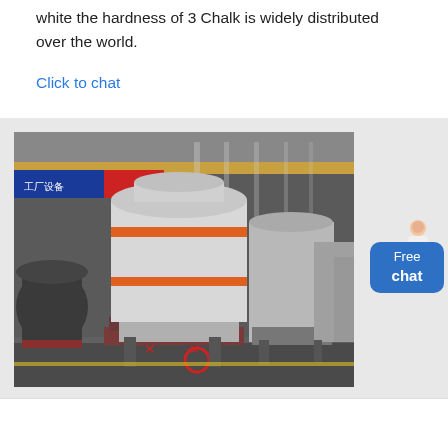white the hardness of 3 Chalk is widely distributed over the world.
Click to chat
[Figure (photo): Industrial grinding mill machines in a large factory warehouse. Several large cylindrical grey and white mill units with orange/red accent bands visible, lined up in a row inside an industrial facility with overhead cranes and lighting.]
Free chat
Get a Quote
WhatsApp